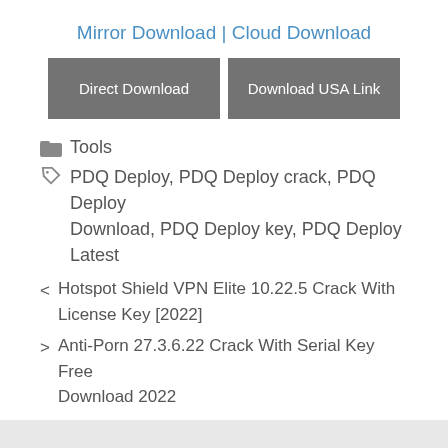Mirror Download | Cloud Download
[Figure (other): Two grey download buttons side by side: 'Direct Download' and 'Download USA Link']
Tools
PDQ Deploy, PDQ Deploy crack, PDQ Deploy Download, PDQ Deploy key, PDQ Deploy Latest
< Hotspot Shield VPN Elite 10.22.5 Crack With License Key [2022]
> Anti-Porn 27.3.6.22 Crack With Serial Key Free Download 2022